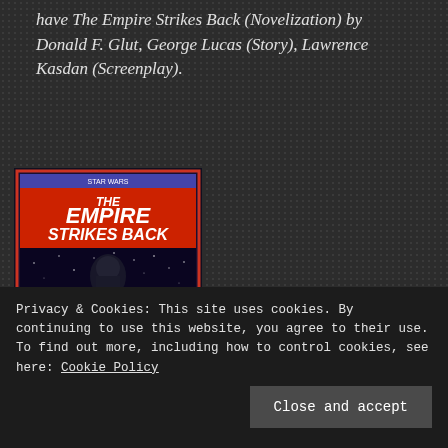have The Empire Strikes Back (Novelization) by Donald F. Glut, George Lucas (Story), Lawrence Kasdan (Screenplay).
[Figure (illustration): Book cover of The Empire Strikes Back novelization showing dramatic Star Wars artwork with characters and the title in bold red/orange lettering]
A long...
View On WordPress
Privacy & Cookies: This site uses cookies. By continuing to use this website, you agree to their use.
To find out more, including how to control cookies, see here: Cookie Policy
Close and accept